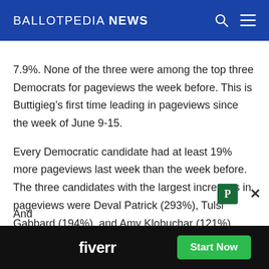BALLOTPEDIA NEWS
7.9%. None of the three were among the top three Democrats for pageviews the week before. This is Buttigieg's first time leading in pageviews since the week of June 9-15.
Every Democratic candidate had at least 19% more pageviews last week than the week before. The three candidates with the largest increases in pageviews were Deval Patrick (293%), Tulsi Gabbard (194%), and Amy Klobuchar (121%).
And [partially obscured by ad] ...ws
[Figure (screenshot): Fiverr advertisement banner: black background with 'fiverr' logo in white bold text and a green 'Start Now' button]